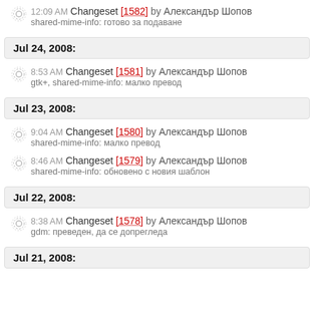12:09 AM Changeset [1582] by Александър Шопов
shared-mime-info: готово за подаване
Jul 24, 2008:
8:53 AM Changeset [1581] by Александър Шопов
gtk+, shared-mime-info: малко превод
Jul 23, 2008:
9:04 AM Changeset [1580] by Александър Шопов
shared-mime-info: малко превод
8:46 AM Changeset [1579] by Александър Шопов
shared-mime-info: обновено с новия шаблон
Jul 22, 2008:
8:38 AM Changeset [1578] by Александър Шопов
gdm: преведен, да се допрегледа
Jul 21, 2008: